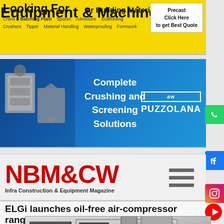[Figure (other): Yellow banner advertisement: 'Looking For Equipment & Machinery or Building Materials - Click Here to get Best Quote' with keywords: Crane, Crushers, Batching Plant, Tipper, Material Handling, Spares, Waterproofing, Adventure, Formwork, Scaffolding, Precast]
[Figure (other): Puzzolana blue banner advertisement: 'Complete Crushing and Screening Solutions' with crusher machinery images on left and Puzzolana logo on right]
[Figure (logo): NBM&CW - Infra Construction & Equipment Magazine logo in red with hamburger menu icon]
ELGi launches oil-free air-compressor range
[Figure (photo): Photo of ELGi oil-free air compressor unit, grey industrial machine with ELGi branding]